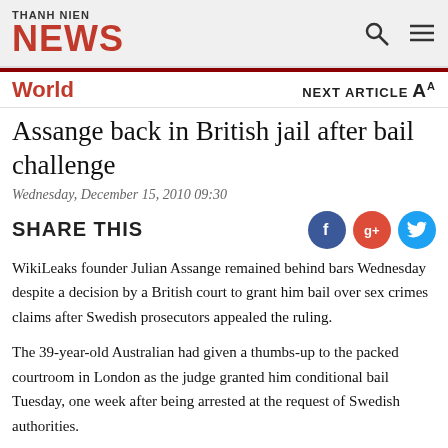THANH NIEN NEWS
World
Assange back in British jail after bail challenge
Wednesday, December 15, 2010 09:30
SHARE THIS
WikiLeaks founder Julian Assange remained behind bars Wednesday despite a decision by a British court to grant him bail over sex crimes claims after Swedish prosecutors appealed the ruling.
The 39-year-old Australian had given a thumbs-up to the packed courtroom in London as the judge granted him conditional bail Tuesday, one week after being arrested at the request of Swedish authorities.
But two hours later, lawyers for Swedish prosecutors announced that they would appeal the ruling, meaning the case will now go to Britain's high court and a new hearing must be heard within 48 hours.